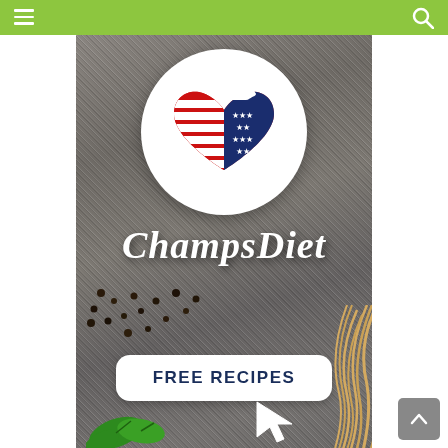[Figure (logo): ChampsDiet website screenshot showing green navigation bar with hamburger menu icon and search icon, a main banner image with stone/granite background, a white circular plate logo with a heart shape in American flag pattern (red and white stripes, blue with stars) with a chef hat on top, cursive italic white text 'ChampsDiet', food items including black peppercorns, spaghetti noodles, and green basil leaves, and a rounded white button with dark blue bold text 'FREE RECIPES' with a cursor arrow icon pointing to it.]
ChampsDiet
FREE RECIPES